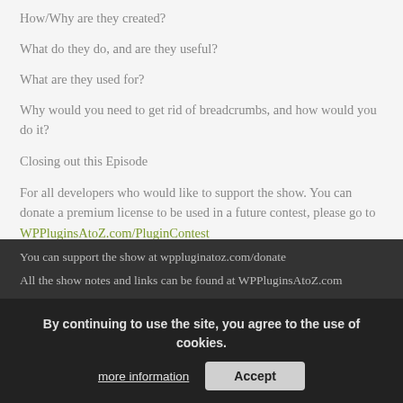How/Why are they created?
What do they do, and are they useful?
What are they used for?
Why would you need to get rid of breadcrumbs, and how would you do it?
Closing out this Episode
For all developers who would like to support the show. You can donate a premium license to be used in a future contest, please go to WPPluginsAtoZ.com/PluginContest
Be sure and subscribe to our Newsletter.
Just some reminders:
You can support the show at wppluginatoz.com/donate
All the show notes and links can be found at WPPluginsAtoZ.com
Subscribe and review the show at:
By continuing to use the site, you agree to the use of cookies.
more information
Accept